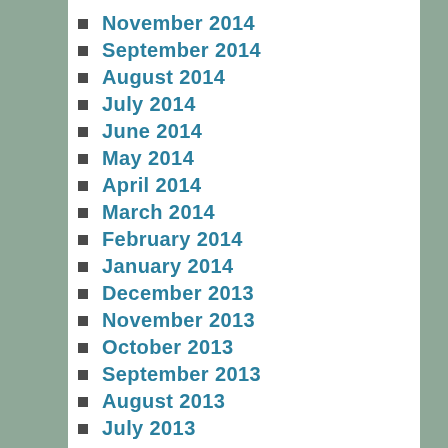November 2014
September 2014
August 2014
July 2014
June 2014
May 2014
April 2014
March 2014
February 2014
January 2014
December 2013
November 2013
October 2013
September 2013
August 2013
July 2013
June 2013
May 2013
April 2013
March 2013
February 2013